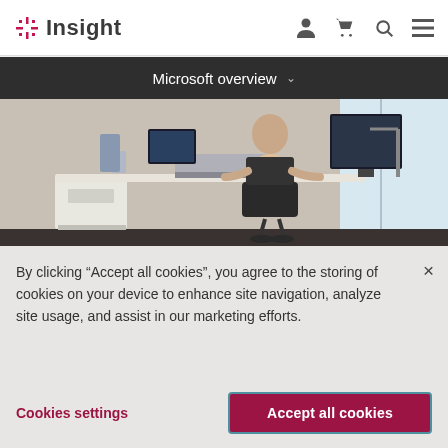Insight
Microsoft overview
[Figure (photo): Person sitting at a standing desk workstation with a laptop and dual monitors in an office setting]
Streamlined device
By clicking “Accept all cookies”, you agree to the storing of cookies on your device to enhance site navigation, analyze site usage, and assist in our marketing efforts.
Cookies settings
Accept all cookies